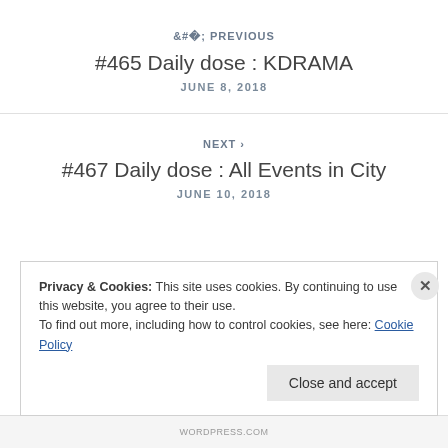< PREVIOUS
#465 Daily dose : KDRAMA
JUNE 8, 2018
NEXT >
#467 Daily dose : All Events in City
JUNE 10, 2018
Privacy & Cookies: This site uses cookies. By continuing to use this website, you agree to their use.
To find out more, including how to control cookies, see here: Cookie Policy
Close and accept